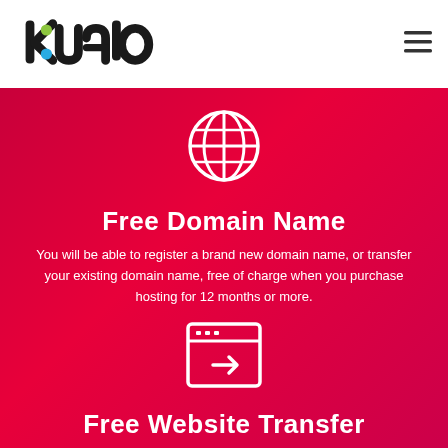[Figure (logo): Kualo logo — stylized text 'kualo' with a colorful 'k' in black]
[Figure (illustration): Hamburger menu icon (three horizontal lines)]
[Figure (illustration): Globe / world icon in white outline on red background]
Free Domain Name
You will be able to register a brand new domain name, or transfer your existing domain name, free of charge when you purchase hosting for 12 months or more.
[Figure (illustration): Browser window icon with a right arrow, white outline on red background]
Free Website Transfer
Existing Invision sites? We'll migrate them for you. No hassle, no